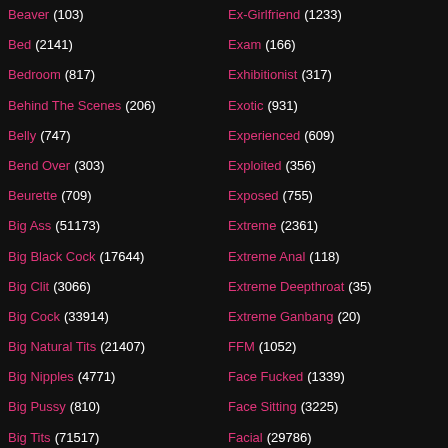Beaver (103)
Bed (2141)
Bedroom (817)
Behind The Scenes (206)
Belly (747)
Bend Over (303)
Beurette (709)
Big Ass (51173)
Big Black Cock (17644)
Big Clit (3066)
Big Cock (33914)
Big Natural Tits (21407)
Big Nipples (4771)
Big Pussy (810)
Big Tits (71517)
Big Tits Anal (4924)
Ex-Girlfriend (1233)
Exam (166)
Exhibitionist (317)
Exotic (931)
Experienced (609)
Exploited (356)
Exposed (755)
Extreme (2361)
Extreme Anal (118)
Extreme Deepthroat (35)
Extreme Ganbang (20)
FFM (1052)
Face Fucked (1339)
Face Sitting (3225)
Facial (29786)
Facial Compilation (1260)